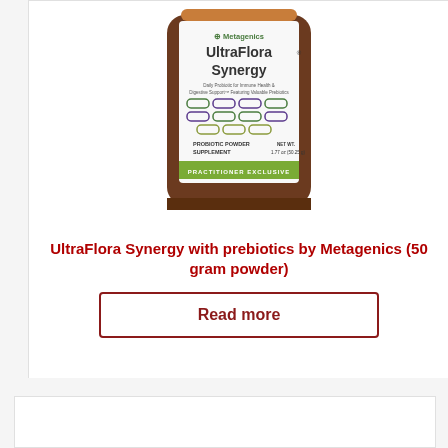[Figure (photo): UltraFlora Synergy probiotic powder supplement bottle by Metagenics, brown amber jar with white label showing colorful pill capsule graphics, green banner reading PRACTITIONER EXCLUSIVE, 1.77 oz (50.25g) net weight]
UltraFlora Synergy with prebiotics by Metagenics (50 gram powder)
Read more